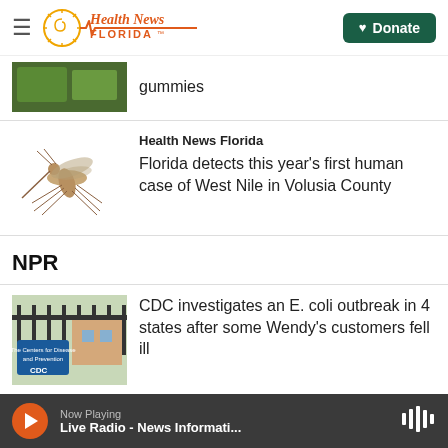Health News Florida — Donate
gummies
Health News Florida
Florida detects this year's first human case of West Nile in Volusia County
NPR
CDC investigates an E. coli outbreak in 4 states after some Wendy's customers fell ill
Now Playing — Live Radio - News Informati...